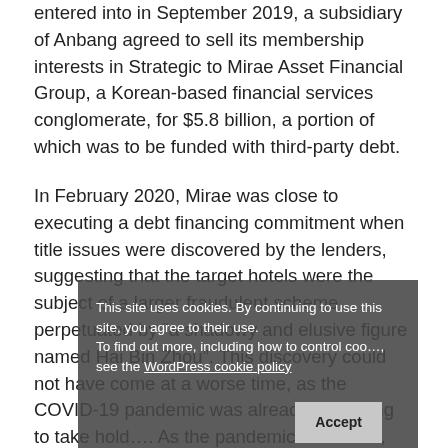entered into in September 2019, a subsidiary of Anbang agreed to sell its membership interests in Strategic to Mirae Asset Financial Group, a Korean-based financial services conglomerate, for $5.8 billion, a portion of which was to be funded with third-party debt.
In February 2020, Mirae was close to executing a debt financing commitment when title issues were discovered by the lenders, suggesting that the target hotels were the subject of a larger fraudulent scheme perpetuated by “a shadowy and elusive figure named Hai Bin Zhou”. This discovery could not have come at a worse time, as the COVID-19 pandemic was already beginning to take hold... As the pandemic worsened, Strategic’s business,